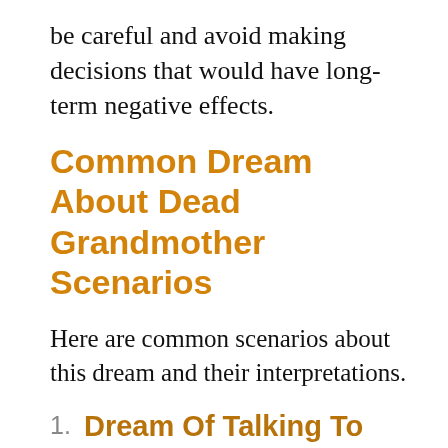be careful and avoid making decisions that would have long-term negative effects.
Common Dream About Dead Grandmother Scenarios
Here are common scenarios about this dream and their interpretations.
1. Dream Of Talking To Deceased Grandmother
If you have this dream it could be a sign for